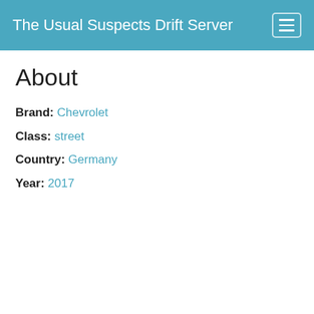The Usual Suspects Drift Server
About
Brand: Chevrolet
Class: street
Country: Germany
Year: 2017
Changelog  Wiki  About
Assetto Corsa Server Manager Premium v2.2.0
© Emperor Servers 2022